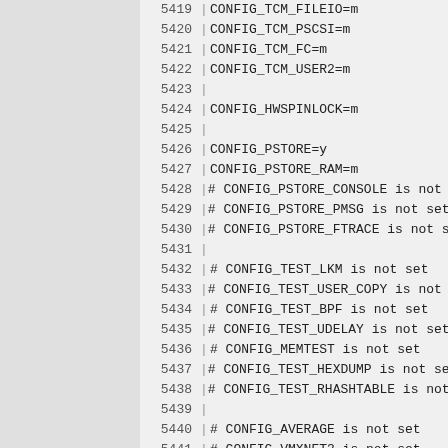5419  CONFIG_TCM_FILEIO=m
5420  CONFIG_TCM_PSCSI=m
5421  CONFIG_TCM_FC=m
5422  CONFIG_TCM_USER2=m
5423  
5424  CONFIG_HWSPINLOCK=m
5425  
5426  CONFIG_PSTORE=y
5427  CONFIG_PSTORE_RAM=m
5428  # CONFIG_PSTORE_CONSOLE is not set
5429  # CONFIG_PSTORE_PMSG is not set
5430  # CONFIG_PSTORE_FTRACE is not set
5431  
5432  # CONFIG_TEST_LKM is not set
5433  # CONFIG_TEST_USER_COPY is not set
5434  # CONFIG_TEST_BPF is not set
5435  # CONFIG_TEST_UDELAY is not set
5436  # CONFIG_MEMTEST is not set
5437  # CONFIG_TEST_HEXDUMP is not set
5438  # CONFIG_TEST_RHASHTABLE is not set
5439  
5440  # CONFIG_AVERAGE is not set
5441  # CONFIG_VMXNET3 is not set
5442  
5443  # CONFIG_SIGMA is not set